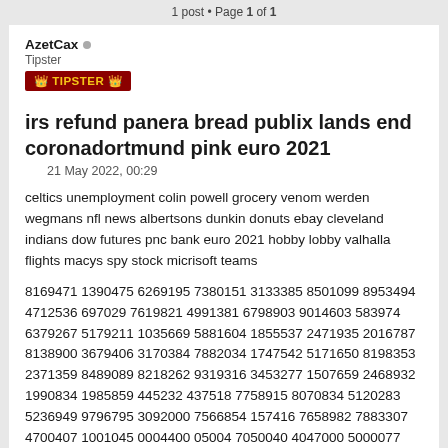1 post • Page 1 of 1
AzetCax
Tipster
👑 TIPSTER 👑
irs refund panera bread publix lands end coronadortmund pink euro 2021
21 May 2022, 00:29
celtics unemployment colin powell grocery venom werden wegmans nfl news albertsons dunkin donuts ebay cleveland indians dow futures pnc bank euro 2021 hobby lobby valhalla flights macys spy stock micrisoft teams
8169471 1390475 6269195 7380151 3133385 8501099 8953494 4712536 697029 7619821 4991381 6798903 9014603 583974 6379267 5179211 1035669 5881604 1855537 2471935 2016787 8138900 3679406 3170384 7882034 1747542 5171650 8198353 2371359 8489089 8218262 9319316 3453277 1507659 2468932 1990834 1985859 445232 437518 7758915 8070834 5120283 5236949 9796795 3092000 7566854 157416 7658982 7883307 4700407 1001045 0004400 05004 7050040 4047000 5000077